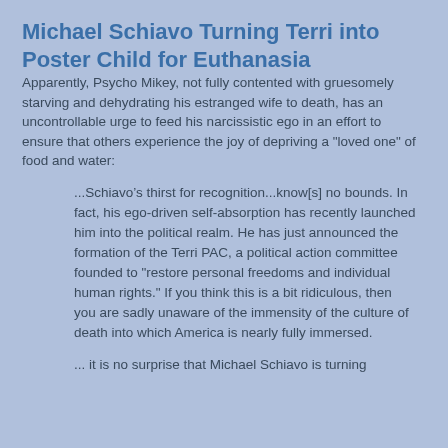Michael Schiavo Turning Terri into Poster Child for Euthanasia
Apparently, Psycho Mikey, not fully contented with gruesomely starving and dehydrating his estranged wife to death, has an uncontrollable urge to feed his narcissistic ego in an effort to ensure that others experience the joy of depriving a "loved one" of food and water:
...Schiavo’s thirst for recognition...know[s] no bounds. In fact, his ego-driven self-absorption has recently launched him into the political realm. He has just announced the formation of the Terri PAC, a political action committee founded to "restore personal freedoms and individual human rights." If you think this is a bit ridiculous, then you are sadly unaware of the immensity of the culture of death into which America is nearly fully immersed.
... it is no surprise that Michael Schiavo is turning